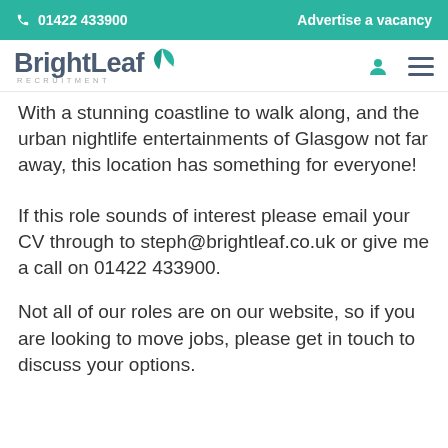01422 433900   Advertise a vacancy
[Figure (logo): BrightLeaf Recruitment logo with teal leaf icon]
With a stunning coastline to walk along, and the urban nightlife entertainments of Glasgow not far away, this location has something for everyone!
If this role sounds of interest please email your CV through to steph@brightleaf.co.uk or give me a call on 01422 433900.
Not all of our roles are on our website, so if you are looking to move jobs, please get in touch to discuss your options.